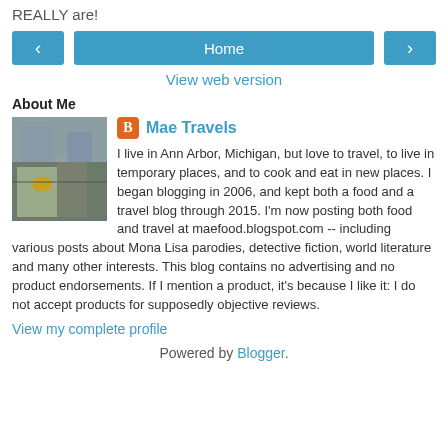REALLY are!
[Figure (other): Navigation buttons: left arrow, Home button, right arrow]
View web version
About Me
[Figure (photo): Profile photo showing industrial/warehouse scene]
Mae Travels
I live in Ann Arbor, Michigan, but love to travel, to live in temporary places, and to cook and eat in new places. I began blogging in 2006, and kept both a food and a travel blog through 2015. I'm now posting both food and travel at maefood.blogspot.com -- including various posts about Mona Lisa parodies, detective fiction, world literature and many other interests. This blog contains no advertising and no product endorsements. If I mention a product, it's because I like it: I do not accept products for supposedly objective reviews.
View my complete profile
Powered by Blogger.